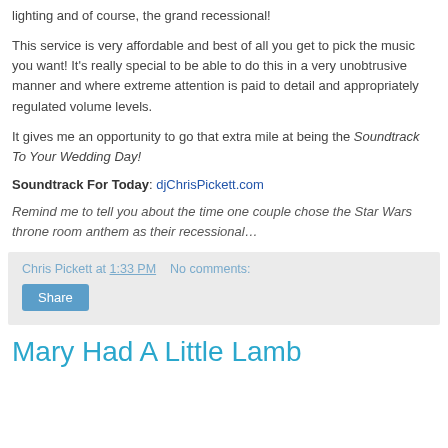lighting and of course, the grand recessional!
This service is very affordable and best of all you get to pick the music you want! It's really special to be able to do this in a very unobtrusive manner and where extreme attention is paid to detail and appropriately regulated volume levels.
It gives me an opportunity to go that extra mile at being the Soundtrack To Your Wedding Day!
Soundtrack For Today: djChrisPickett.com
Remind me to tell you about the time one couple chose the Star Wars throne room anthem as their recessional…
Chris Pickett at 1:33 PM   No comments:
Share
Mary Had A Little Lamb